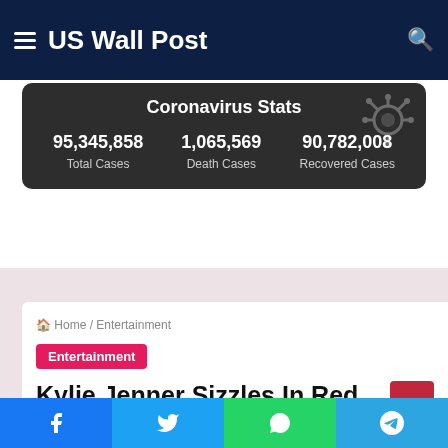US Wall Post
Coronavirus Stats
95,345,858 Total Cases  |  1,065,569 Death Cases  |  90,782,008 Recovered Cases
Home / Entertainment
Entertainment
Kylie Jenner Sizzles In Red